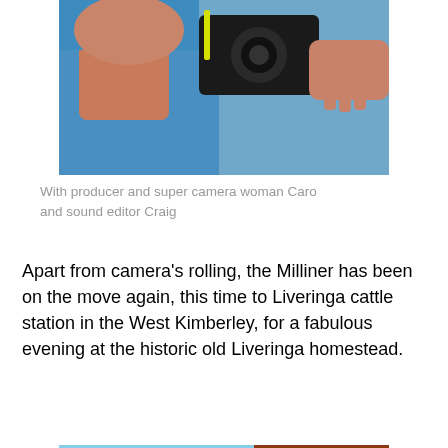[Figure (photo): Close-up photo of a person in a blue shirt and a camera woman with a large video camera, appearing to be filming]
With producer and super camera woman Caro and sound editor Craig
Apart from camera's rolling, the Milliner has been on the move again, this time to Liveringa cattle station in the West Kimberley, for a fabulous evening at the historic old Liveringa homestead.
[Figure (photo): A person wearing sunglasses, black vest, and blue shirt standing beside a large red cattle truck on a red dirt road in the Australian outback]